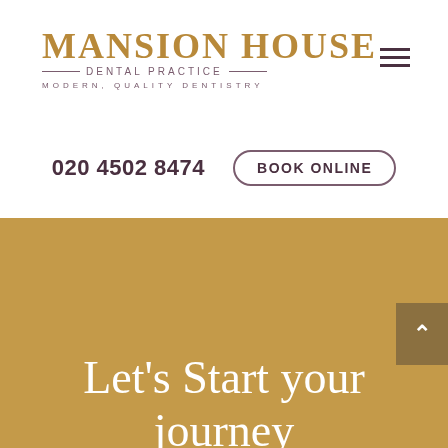[Figure (logo): Mansion House Dental Practice logo with gold serif text and decorative lines, tagline: Modern. Quality Dentistry]
[Figure (other): Hamburger menu icon (three horizontal lines) in dark purple]
020 4502 8474
BOOK ONLINE
Let's Start your journey